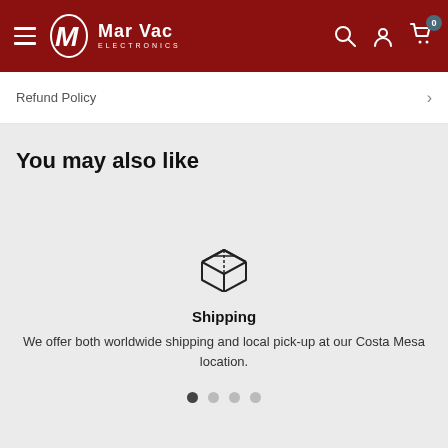[Figure (logo): Mar Vac Electronics logo on dark red header with hamburger menu, search, account, and cart icons]
Refund Policy
You may also like
[Figure (illustration): Box/package shipping icon]
Shipping
We offer both worldwide shipping and local pick-up at our Costa Mesa location.